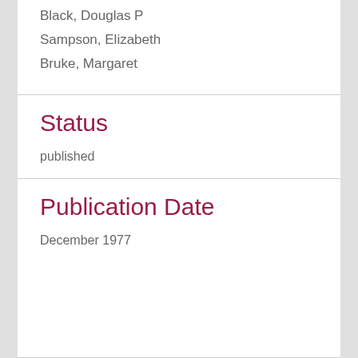Black, Douglas P
Sampson, Elizabeth
Bruke, Margaret
Status
published
Publication Date
December 1977